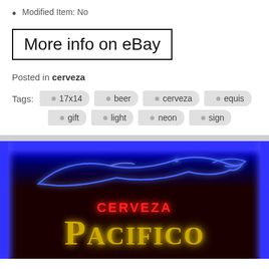Modified Item: No
More info on eBay
Posted in cerveza
Tags: 17x14 beer cerveza equis gift light neon sign
[Figure (photo): Neon sign for Cerveza Pacifico beer with blue neon border frame, red CERVEZA text, and gold PACIFICO text. A blue neon fish/marlin silhouette is visible in the upper portion against a dark background.]